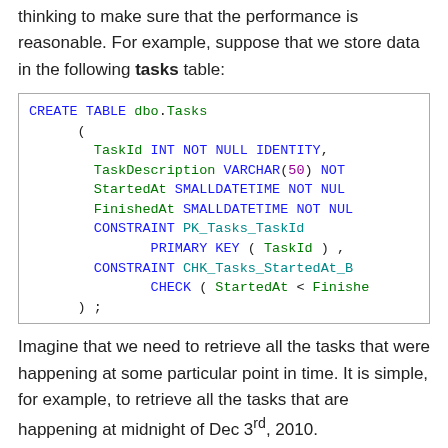thinking to make sure that the performance is reasonable. For example, suppose that we store data in the following tasks table:
Imagine that we need to retrieve all the tasks that were happening at some particular point in time. It is simple, for example, to retrieve all the tasks that are happening at midnight of Dec 3rd, 2010.